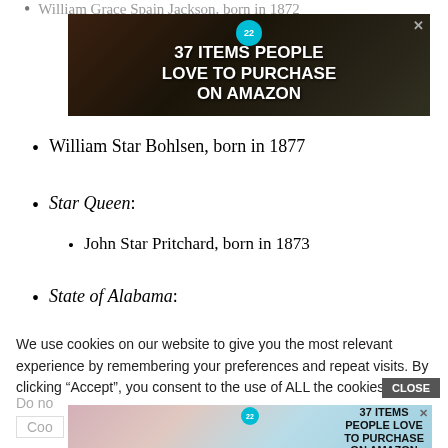William Grace Spain Jackson, born in 1872
[Figure (screenshot): Advertisement banner: '37 ITEMS PEOPLE LOVE TO PURCHASE ON AMAZON' with a teal badge showing '22' and an X close button, dark background with food/kitchen items.]
William Star Bohlsen, born in 1877
Star Queen:
John Star Pritchard, born in 1873
State of Alabama:
We use cookies on our website to give you the most relevant experience by remembering your preferences and repeat visits. By clicking “Accept”, you consent to the use of ALL the cookies.
Do no
Coo
[Figure (screenshot): Advertisement banner: '37 ITEMS PEOPLE LOVE TO PURCHASE ON AMAZON' with teal badge showing '22' and an X close button, showing lifestyle product images.]